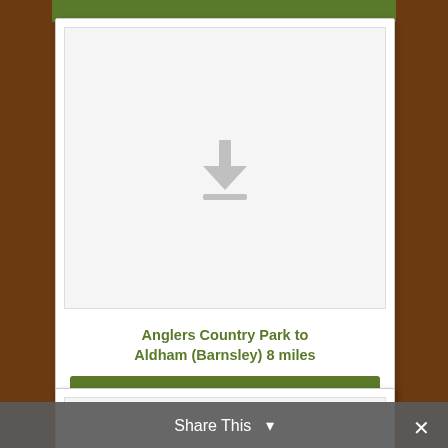[Figure (screenshot): A download preview card showing a document tile with a grey download arrow icon on a light grey background, representing a PDF file preview area.]
Anglers Country Park to Aldham (Barnsley) 8 miles
Download File
26.pdf – 108 KB
Share This